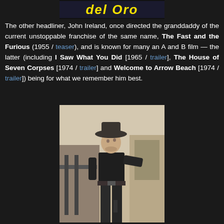[Figure (photo): Partial view of a movie title card with yellow stylized text on dark background — partial text visible reading 'del Oro' or similar]
The other headliner, John Ireland, once directed the granddaddy of the current unstoppable franchise of the same name, The Fast and the Furious (1955 / teaser), and is known for many an A and B film — the latter (including I Saw What You Did [1965 / trailer], The House of Seven Corpses [1974 / trailer] and Welcome to Arrow Beach [1974 / trailer]) being for what we remember him best.
[Figure (photo): Black and white / slightly colorized photo of a man dressed as a cowboy in dark clothing and wide-brimmed hat, standing outdoors with a building in the background, appearing to be a film still]